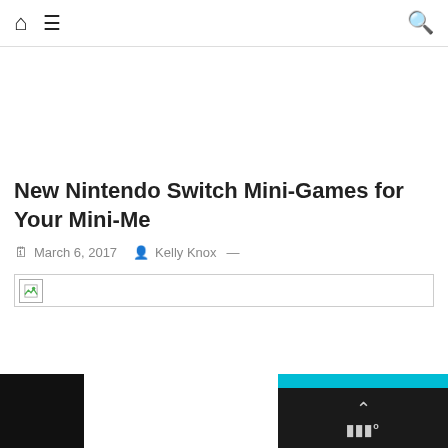Home | Menu | Search
New Nintendo Switch Mini-Games for Your Mini-Me
March 6, 2017   Kelly Knox —
[Figure (photo): Broken image placeholder for article featured image]
[Figure (other): Bottom navigation bar with scroll-to-top button and site logo]